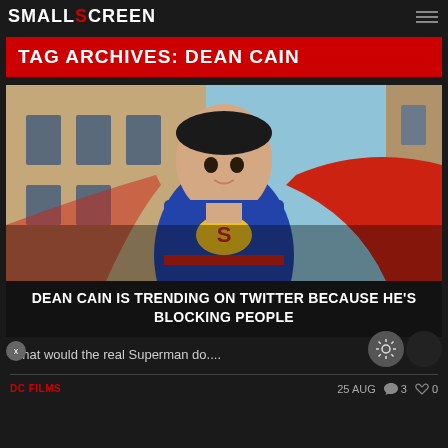SMALLSCREEN
TAG ARCHIVES: DEAN CAIN
[Figure (photo): Dean Cain dressed as Superman, wearing blue suit with red cape and yellow S shield, photographed outdoors against a building backdrop]
DEAN CAIN IS TRENDING ON TWITTER BECAUSE HE'S BLOCKING PEOPLE
What would the real Superman do....
DC FILMS
25 AUG  💬 3  🤍 0